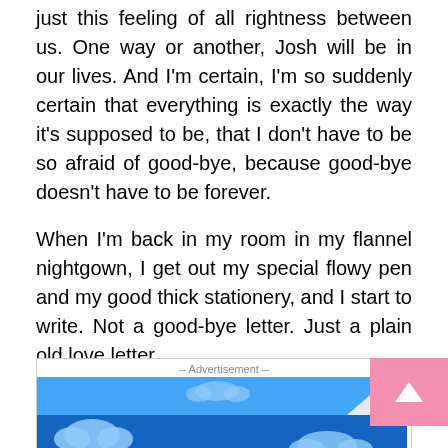just this feeling of all rightness between us. One way or another, Josh will be in our lives. And I'm certain, I'm so suddenly certain that everything is exactly the way it's supposed to be, that I don't have to be so afraid of good-bye, because good-bye doesn't have to be forever.
When I'm back in my room in my flannel nightgown, I get out my special flowy pen and my good thick stationery, and I start to write. Not a good-bye letter. Just a plain old love letter.
Dear Peter . . .
[Figure (illustration): Advertisement banner with blue sky and clouds scene, with a pink scroll-to-top button in the corner.]